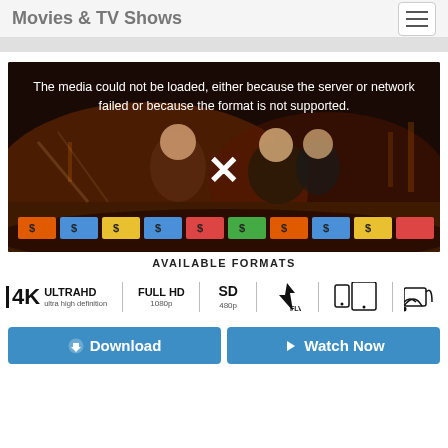Movies & TV Shows
[Figure (screenshot): Video player showing error message: 'The media could not be loaded, either because the server or network failed or because the format is not supported.' with an X symbol overlay on a game show background]
AVAILABLE FORMATS
[Figure (infographic): Available formats row: 4K Ultra HD ultra high definition, FULL HD 1080p, SD 480p, FLV, mobile/tablet icon, cast icon]
[Figure (infographic): Two buttons: Download and Watch Now]